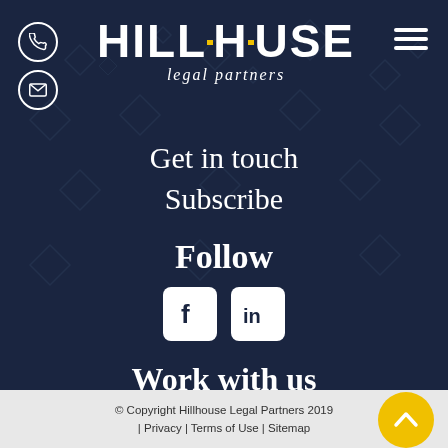[Figure (logo): Hillhouse Legal Partners logo with HILLHOUSE in large white uppercase letters and 'legal partners' subtitle, along with phone and email icon circles on left and hamburger menu on right]
Get in touch
Subscribe
Follow
[Figure (illustration): Facebook and LinkedIn social media icon buttons in white rounded squares]
Work with us
© Copyright Hillhouse Legal Partners 2019 | Privacy | Terms of Use | Sitemap